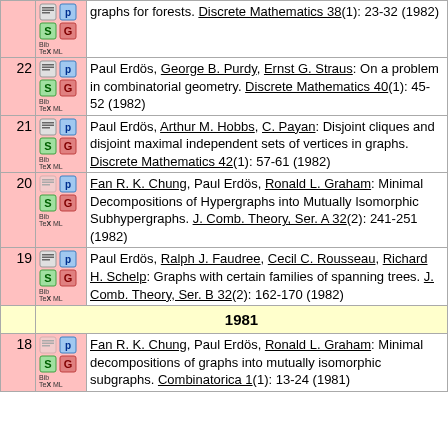| # | icons | Reference |
| --- | --- | --- |
|  |  | graphs for forests. Discrete Mathematics 38(1): 23-32 (1982) |
| 22 | icons | Paul Erdös, George B. Purdy, Ernst G. Straus: On a problem in combinatorial geometry. Discrete Mathematics 40(1): 45-52 (1982) |
| 21 | icons | Paul Erdös, Arthur M. Hobbs, C. Payan: Disjoint cliques and disjoint maximal independent sets of vertices in graphs. Discrete Mathematics 42(1): 57-61 (1982) |
| 20 | icons | Fan R. K. Chung, Paul Erdös, Ronald L. Graham: Minimal Decompositions of Hypergraphs into Mutually Isomorphic Subhypergraphs. J. Comb. Theory, Ser. A 32(2): 241-251 (1982) |
| 19 | icons | Paul Erdös, Ralph J. Faudree, Cecil C. Rousseau, Richard H. Schelp: Graphs with certain families of spanning trees. J. Comb. Theory, Ser. B 32(2): 162-170 (1982) |
| 1981 |  |  |
| 18 | icons | Fan R. K. Chung, Paul Erdös, Ronald L. Graham: Minimal decompositions of graphs into mutually isomorphic subgraphs. Combinatorica 1(1): 13-24 (1981) |